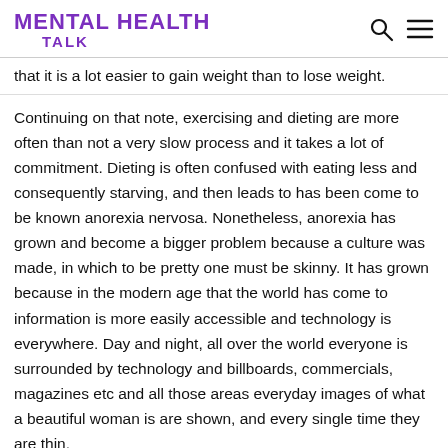MENTAL HEALTH TALK
that it is a lot easier to gain weight than to lose weight.
Continuing on that note, exercising and dieting are more often than not a very slow process and it takes a lot of commitment. Dieting is often confused with eating less and consequently starving, and then leads to has been come to be known anorexia nervosa. Nonetheless, anorexia has grown and become a bigger problem because a culture was made, in which to be pretty one must be skinny. It has grown because in the modern age that the world has come to information is more easily accessible and technology is everywhere. Day and night, all over the world everyone is surrounded by technology and billboards, commercials, magazines etc and all those areas everyday images of what a beautiful woman is are shown, and every single time they are thin.